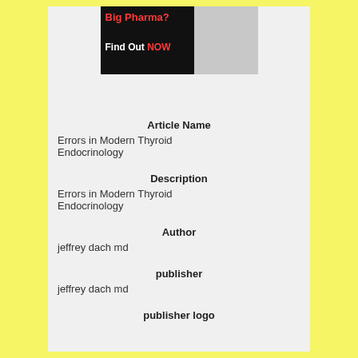[Figure (photo): Advertisement banner with text 'Big Pharma? Find Out NOW' in red and white on dark background, with a figure of a person in white coat on the right]
Article Name
Errors in Modern Thyroid Endocrinology
Description
Errors in Modern Thyroid Endocrinology
Author
jeffrey dach md
publisher
jeffrey dach md
publisher logo